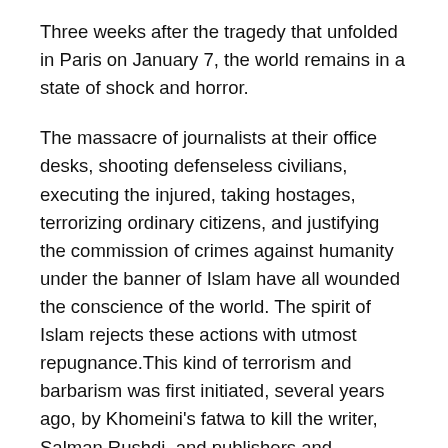Three weeks after the tragedy that unfolded in Paris on January 7, the world remains in a state of shock and horror.
The massacre of journalists at their office desks, shooting defenseless civilians, executing the injured, taking hostages, terrorizing ordinary citizens, and justifying the commission of crimes against humanity under the banner of Islam have all wounded the conscience of the world. The spirit of Islam rejects these actions with utmost repugnance.This kind of terrorism and barbarism was first initiated, several years ago, by Khomeini's fatwa to kill the writer, Salman Rushdi, and publishers and translators of his book.
At the same time, such barbarism has been well-known